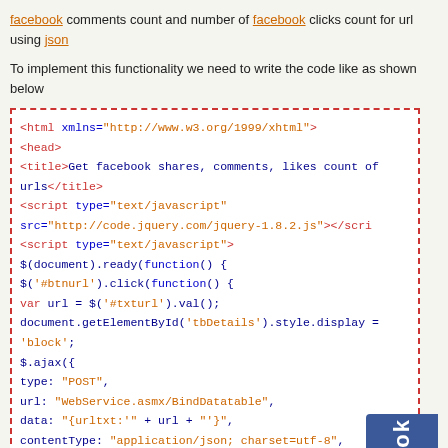facebook comments count and number of facebook clicks count for url using json
To implement this functionality we need to write the code like as shown below
[Figure (screenshot): Code block showing HTML/JavaScript code for getting Facebook shares, comments, likes count of URLs using jQuery AJAX. Contains dashed red border with code in blue and orange/red colors, and a Facebook badge in the bottom right corner.]